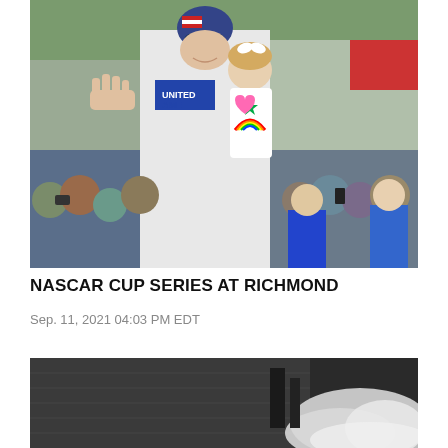[Figure (photo): NASCAR driver in white racing suit with 'UNITED AM' sponsor logo, wearing an American flag cap and sunglasses, waving to the crowd while holding a young blonde girl in a colorful dress decorated with rainbows and stars. Crowd of spectators visible in background.]
NASCAR CUP SERIES AT RICHMOND
Sep. 11, 2021 04:03 PM EDT
[Figure (photo): Dark industrial or racetrack scene with smoke or steam visible on the right side, dark concrete or brick walls visible.]